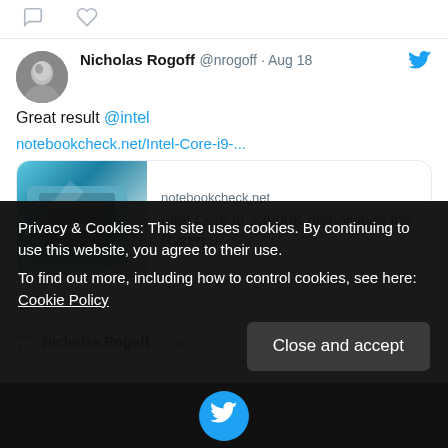[Figure (screenshot): Top icons row with comment bubble and heart icons on white background]
Nicholas Rogoff @nrogoff · Aug 18
Great result @intel
notebookcheck.net/Intel-Core-i9-...
notebookcheck.net
Intel Core i9-13900K demolishes the Ryzen 9 ...
Nicholas Rogoff Retweeted
Privacy & Cookies: This site uses cookies. By continuing to use this website, you agree to their use.
To find out more, including how to control cookies, see here: Cookie Policy
Close and accept